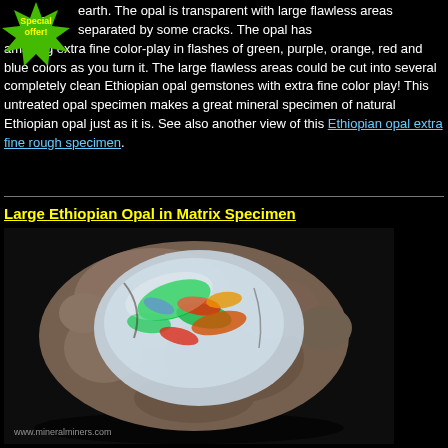[Figure (illustration): Green star/starburst badge with 'Special Offer' text in yellow, positioned top-left corner]
earth. The opal is transparent with large flawless areas separated by some cracks. The opal has amazing extra fine color-play in flashes of green, purple, orange, red and blue colors as you turn it. The large flawless areas could be cut into several completely clean Ethiopian opal gemstones with extra fine color play! This untreated opal specimen makes a great mineral specimen of natural Ethiopian opal just as it is. See also another view of this Ethiopian opal extra fine rough specimen.
Large Ethiopian Opal in Matrix Specimen
[Figure (photo): Large Ethiopian opal in matrix specimen photographed on black background. The stone shows a rough grey/brown matrix exterior with a prominent opal face displaying vivid color play in greens, reds, and oranges. Watermark: www.mineralminers.com]